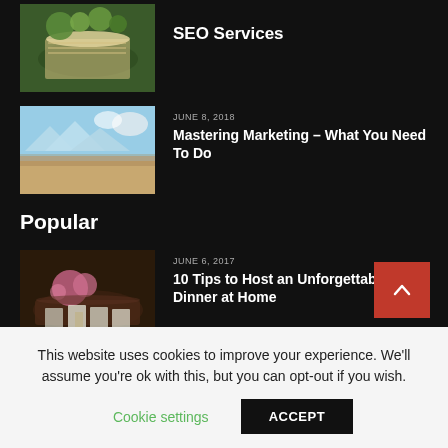[Figure (photo): Thumbnail image of an open book with green plants/flowers]
SEO Services
[Figure (photo): Thumbnail image of paper boats on a sandy beach with blue sky]
JUNE 8, 2018
Mastering Marketing – What You Need To Do
Popular
[Figure (photo): Thumbnail image of a table set for dinner with flowers and plates]
JUNE 6, 2017
10 Tips to Host an Unforgettable Dinner at Home
This website uses cookies to improve your experience. We'll assume you're ok with this, but you can opt-out if you wish.
Cookie settings
ACCEPT